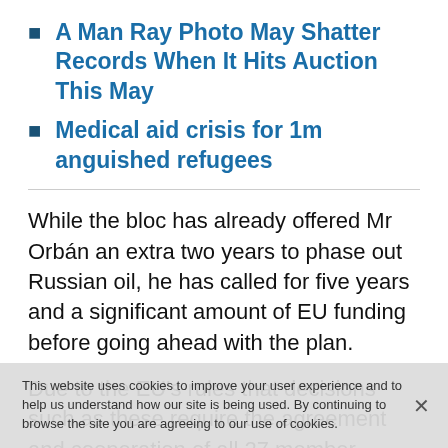A Man Ray Photo May Shatter Records When It Hits Auction This May
Medical aid crisis for 1m anguished refugees
While the bloc has already offered Mr Orbán an extra two years to phase out Russian oil, he has called for five years and a significant amount of EU funding before going ahead with the plan.
Due to the EU's rules that decisions such as these require the agreement and cooperation of all 27 member nations, the bloc is unable to press forward without
This website uses cookies to improve your user experience and to help us understand how our site is being used. By continuing to browse the site you are agreeing to our use of cookies.